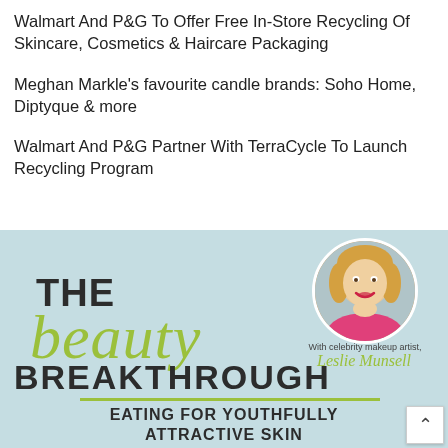Walmart And P&G To Offer Free In-Store Recycling Of Skincare, Cosmetics & Haircare Packaging
Meghan Markle’s favourite candle brands: Soho Home, Diptyque & more
Walmart And P&G Partner With TerraCycle To Launch Recycling Program
[Figure (illustration): Promotional banner for 'The Beauty Breakthrough' podcast/show featuring 'EATING FOR YOUTHFULLY ATTRACTIVE SKIN' tagline, with a circular photo of celebrity makeup artist Leslie Munsell, on a light blue background]